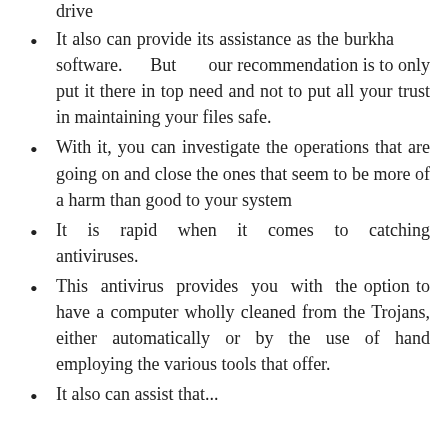drive
It also can provide its assistance as the burkha software. But our recommendation is to only put it there in top need and not to put all your trust in maintaining your files safe.
With it, you can investigate the operations that are going on and close the ones that seem to be more of a harm than good to your system
It is rapid when it comes to catching antiviruses.
This antivirus provides you with the option to have a computer wholly cleaned from the Trojans, either automatically or by the use of hand employing the various tools that offer.
It also can assist that...